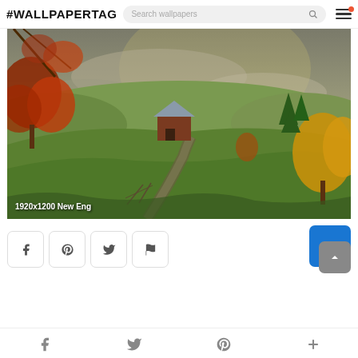#WALLPAPERTAG
[Figure (screenshot): Screenshot of wallpaper website showing a scenic autumn New England farm landscape with a barn, rolling green hills, autumn-colored trees, and a winding road. Image label reads '1920x1200 New Eng']
[Figure (screenshot): Social sharing buttons row: Facebook, Pinterest, Twitter, Flag icons, and a blue download button with a grey scroll-to-top button overlay]
Facebook, Twitter, Pinterest, Plus bottom navigation icons